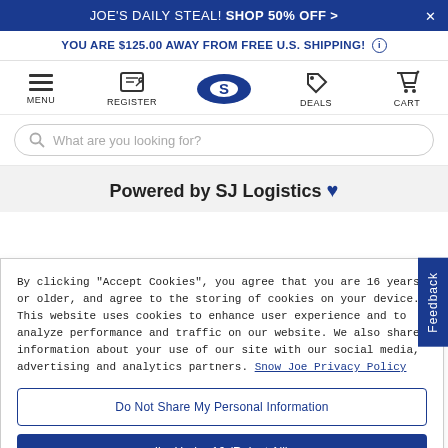JOE'S DAILY STEAL! SHOP 50% OFF >
YOU ARE $125.00 AWAY FROM FREE U.S. SHIPPING!
[Figure (screenshot): Navigation bar with MENU, REGISTER, SJ Logistics logo (blue oval with S), DEALS, and CART icons]
What are you looking for?
Powered by SJ Logistics ♥
By clicking "Accept Cookies", you agree that you are 16 years or older, and agree to the storing of cookies on your device. This website uses cookies to enhance user experience and to analyze performance and traffic on our website. We also share information about your use of our site with our social media, advertising and analytics partners. Snow Joe Privacy Policy
Do Not Share My Personal Information
I'm Under 16 (Reject All)
Accept Cookies